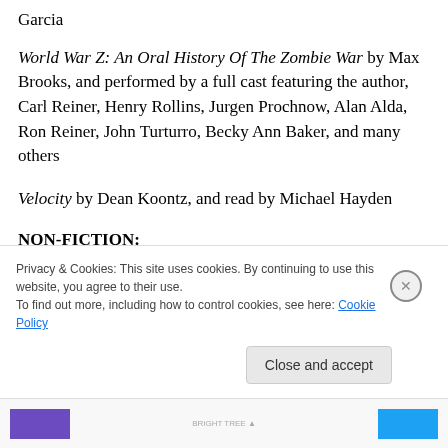Garcia
World War Z: An Oral History Of The Zombie War by Max Brooks, and performed by a full cast featuring the author, Carl Reiner, Henry Rollins, Jurgen Prochnow, Alan Alda, Ron Reiner, John Turturro, Becky Ann Baker, and many others
Velocity by Dean Koontz, and read by Michael Hayden
NON-FICTION:
Son Of Clown America: A Very... Of Dis... The U.S...
Privacy & Cookies: This site uses cookies. By continuing to use this website, you agree to their use.
To find out more, including how to control cookies, see here: Cookie Policy
Close and accept